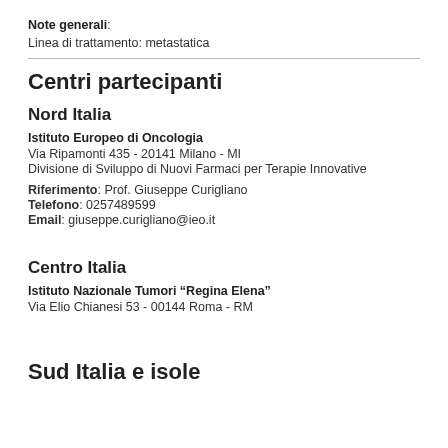Note generali: Linea di trattamento: metastatica
Centri partecipanti
Nord Italia
Istituto Europeo di Oncologia
Via Ripamonti 435 - 20141 Milano - MI
Divisione di Sviluppo di Nuovi Farmaci per Terapie Innovative
Riferimento: Prof. Giuseppe Curigliano
Telefono: 0257489599
Email: giuseppe.curigliano@ieo.it
Centro Italia
Istituto Nazionale Tumori “Regina Elena”
Via Elio Chianesi 53 - 00144 Roma - RM
Sud Italia e isole